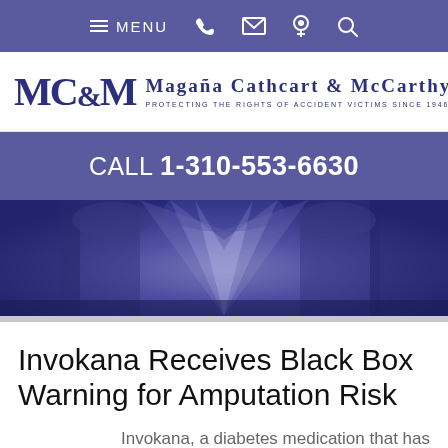MENU (navigation bar with phone, email, location, search icons)
[Figure (logo): MC&M Magaña Cathcart & McCarthy law firm logo with tagline 'Protecting the Rights of Accident Victims Since 1946']
CALL 1-310-553-6630
[Figure (photo): Dark blue/purple decorative architectural background image with ornate architectural details and light rays]
Invokana Receives Black Box Warning for Amputation Risk
Invokana, a diabetes medication that has